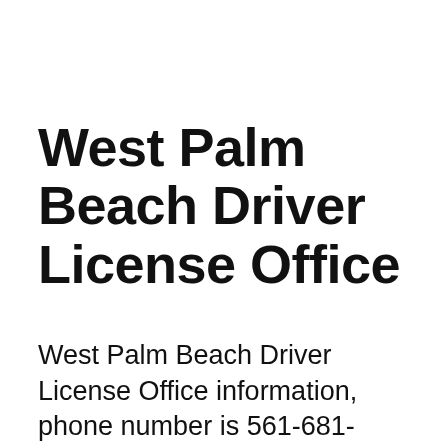West Palm Beach Driver License Office
West Palm Beach Driver License Office information, phone number is 561-681-6333, appointment, address at 571 N Military Trail West Palm